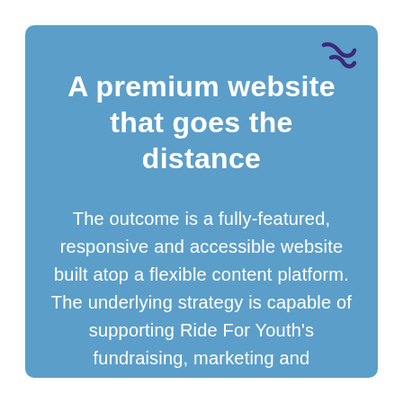[Figure (logo): Abstract curvy smile/wave logo mark in dark purple/indigo color, top right corner]
A premium website that goes the distance
The outcome is a fully-featured, responsive and accessible website built atop a flexible content platform. The underlying strategy is capable of supporting Ride For Youth's fundraising, marketing and communication efforts for many years to come.